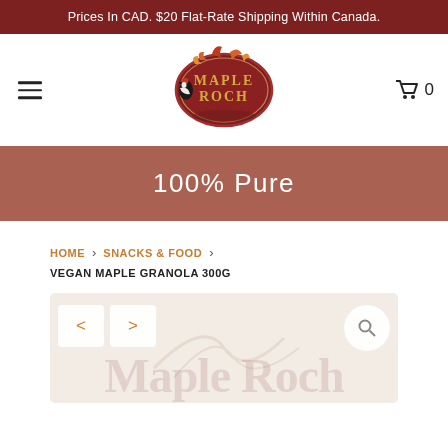Prices In CAD. $20 Flat-Rate Shipping Within Canada.
[Figure (logo): Maple Roch logo: dark red oval with woodpecker bird, maple leaves on top, gold text 'MAPLE ROCH' inside]
100% Pure
HOME > SNACKS & FOOD > VEGAN MAPLE GRANOLA 300G
[Figure (photo): Product image area for Vegan Maple Granola 300G with navigation arrows (< >) and zoom button, light beige background with faint Maple Roch branding watermark]